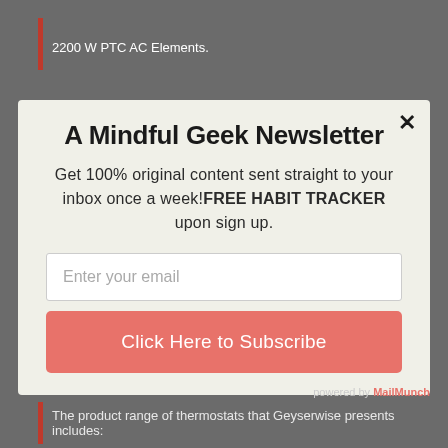2200 W PTC AC Elements.
A Mindful Geek Newsletter
Get 100% original content sent straight to your inbox once a week! FREE HABIT TRACKER upon sign up.
Enter your email
Click Here to Subscribe
powered by MailMunch
The product range of thermostats that Geyserwise presents includes: